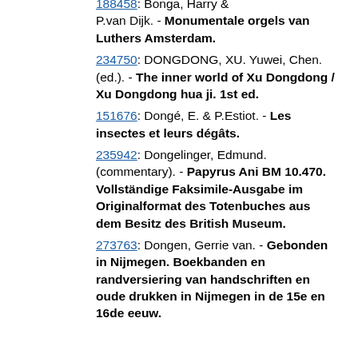[188458]: Bonga, Harry & P.van Dijk. - Monumentale orgels van Luthers Amsterdam.
234750: DONGDONG, XU. Yuwei, Chen. (ed.). - The inner world of Xu Dongdong / Xu Dongdong hua ji. 1st ed.
151676: Dongé, E. & P.Estiot. - Les insectes et leurs dégâts.
235942: Dongelinger, Edmund. (commentary). - Papyrus Ani BM 10.470. Vollständige Faksimile-Ausgabe im Originalformat des Totenbuches aus dem Besitz des British Museum.
273763: Dongen, Gerrie van. - Gebonden in Nijmegen. Boekbanden en randversiering van handschriften en oude drukken in Nijmegen in de 15e en 16de eeuw.